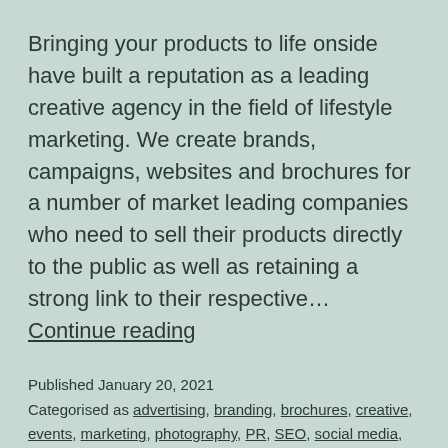Bringing your products to life onside have built a reputation as a leading creative agency in the field of lifestyle marketing. We create brands, campaigns, websites and brochures for a number of market leading companies who need to sell their products directly to the public as well as retaining a strong link to their respective… Continue reading
Published January 20, 2021
Categorised as advertising, branding, brochures, creative, events, marketing, photography, PR, SEO, social media, video, websites